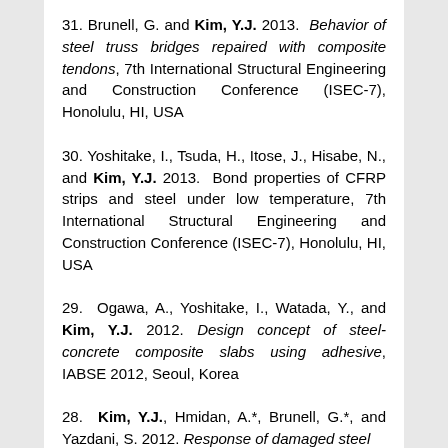31. Brunell, G. and Kim, Y.J. 2013. Behavior of steel truss bridges repaired with composite tendons, 7th International Structural Engineering and Construction Conference (ISEC-7), Honolulu, HI, USA
30. Yoshitake, I., Tsuda, H., Itose, J., Hisabe, N., and Kim, Y.J. 2013. Bond properties of CFRP strips and steel under low temperature, 7th International Structural Engineering and Construction Conference (ISEC-7), Honolulu, HI, USA
29. Ogawa, A., Yoshitake, I., Watada, Y., and Kim, Y.J. 2012. Design concept of steel-concrete composite slabs using adhesive, IABSE 2012, Seoul, Korea
28. Kim, Y.J., Hmidan, A.*, Brunell, G.*, and Yazdani, S. 2012. Response of damaged steel